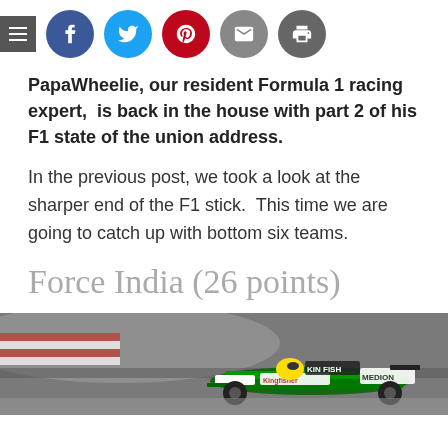[Figure (infographic): Social sharing bar with hamburger menu icon and circular social media icons: Facebook (blue), Twitter (cyan), Pinterest (red), Email (grey), Print (dark grey)]
PapaWheelie, our resident Formula 1 racing expert, is back in the house with part 2 of his F1 state of the union address.
In the previous post, we took a look at the sharper end of the F1 stick. This time we are going to catch up with bottom six teams.
Force India (26 points)
[Figure (photo): Formula 1 Force India racing car on track, with Kingfisher and Medion sponsor logos visible, partial crop]